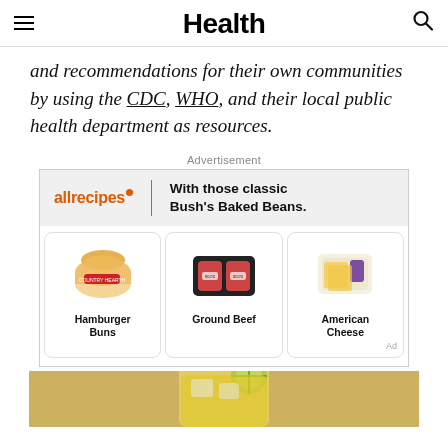Health
and recommendations for their own communities by using the CDC, WHO, and their local public health department as resources.
Advertisement
[Figure (photo): Allrecipes advertisement for Bush's Baked Beans featuring hamburger buns, ground beef, and American cheese products with the tagline 'With those classic Bush's Baked Beans.']
[Figure (photo): Bottom portion of a yellow lemonade drink in a glass with lime, on a tan/beige background.]